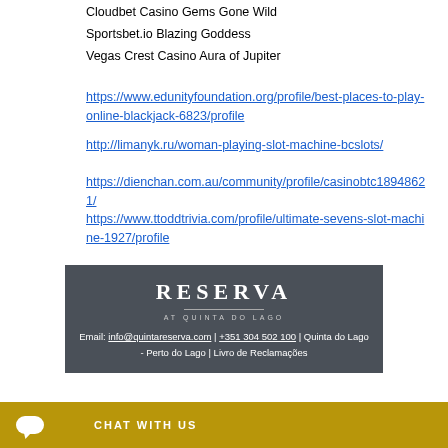Cloudbet Casino Gems Gone Wild
Sportsbet.io Blazing Goddess
Vegas Crest Casino Aura of Jupiter
https://www.edunityfoundation.org/profile/best-places-to-play-online-blackjack-6823/profile
http://limanyk.ru/woman-playing-slot-machine-bcslots/
https://dienchan.com.au/community/profile/casinobtc18948621/
https://www.ttoddtrivia.com/profile/ultimate-sevens-slot-machine-1927/profile
[Figure (screenshot): Reserva at Quinta do Lago branding card with dark grey background showing 'RESERVA' in large serif letters, 'AT QUINTA DO LAGO' subtitle, email info@quintareserva.com, phone +351 304 502 100, and address Quinta do Lago - Perto do Lago | Livro de Reclamações]
CHAT WITH US